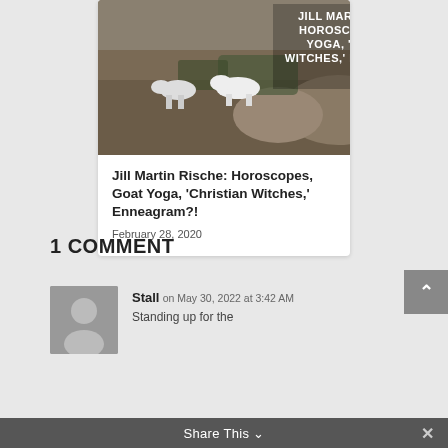[Figure (photo): Photo of goats in a rocky outdoor landscape with text overlay reading 'JILL MARTIN RISCHE: HOROSCOPES, GOAT YOGA, CHRISTIAN WITCHES, ENNEAGRAM?!' in white bold letters]
Jill Martin Rische: Horoscopes, Goat Yoga, 'Christian Witches,' Enneagram?!
February 28, 2020
1 COMMENT
Stall on May 30, 2022 at 3:42 AM
Standing up for the